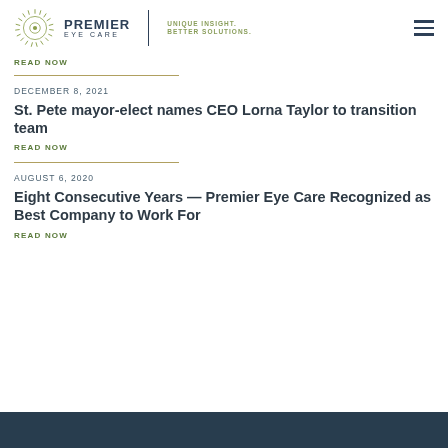[Figure (logo): Premier Eye Care logo with sunburst icon, text PREMIER EYE CARE, divider, and tagline UNIQUE INSIGHT. BETTER SOLUTIONS.]
READ NOW
DECEMBER 8, 2021
St. Pete mayor-elect names CEO Lorna Taylor to transition team
READ NOW
AUGUST 6, 2020
Eight Consecutive Years — Premier Eye Care Recognized as Best Company to Work For
READ NOW